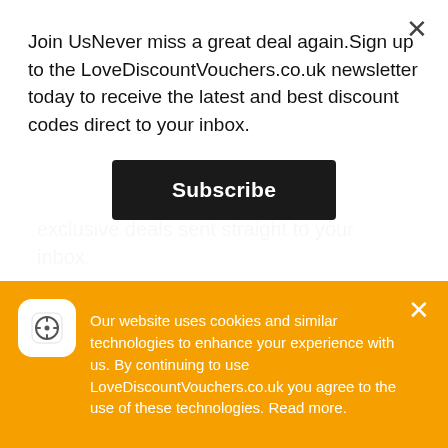Join UsNever miss a great deal again.Sign up to the LoveDiscountVouchers.co.uk newsletter today to receive the latest and best discount codes direct to your inbox.
Subscribe
exclusive deals sent straight to your inbox.
Follow LOFT on social media to stay updated with any new arrivals or offers.
Reasons To Shop At LOFT
Secure payment methods
Our website uses cookies and similar technologies to enhance your experience with us. By continuing to use LoveDiscountVouchers.co.uk you agree to the use of these technologies. Read more.